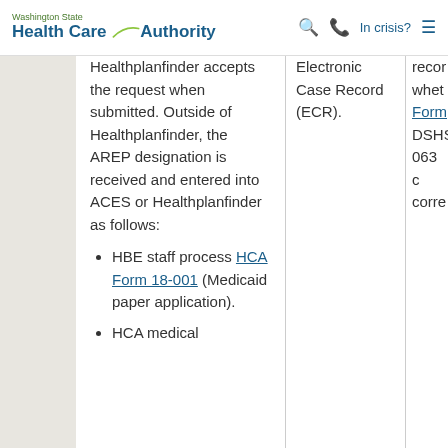Washington State Health Care Authority | In crisis?
Healthplanfinder accepts the request when submitted. Outside of Healthplanfinder, the AREP designation is received and entered into ACES or Healthplanfinder as follows:
HBE staff process HCA Form 18-001 (Medicaid paper application).
HCA medical
Electronic Case Record (ECR).
recor whet Form DSHS 063 c corre